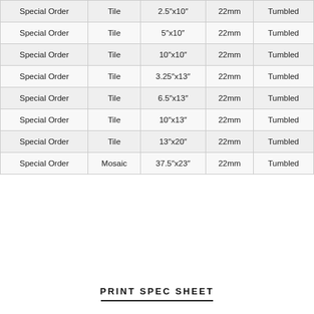| Special Order | Tile | 2.5"x10" | 22mm | Tumbled |
| Special Order | Tile | 5"x10" | 22mm | Tumbled |
| Special Order | Tile | 10"x10" | 22mm | Tumbled |
| Special Order | Tile | 3.25"x13" | 22mm | Tumbled |
| Special Order | Tile | 6.5"x13" | 22mm | Tumbled |
| Special Order | Tile | 10"x13" | 22mm | Tumbled |
| Special Order | Tile | 13"x20" | 22mm | Tumbled |
| Special Order | Mosaic | 37.5"x23" | 22mm | Tumbled |
PRINT SPEC SHEET